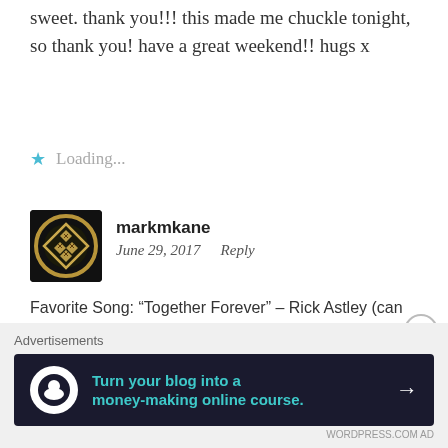sweet. thank you!!! this made me chuckle tonight, so thank you! have a great weekend!! hugs x
Loading...
markmkane
June 29, 2017   Reply
Favorite Song: “Together Forever” – Rick Astley (can listen to this all the time)
Favorite Movie: “Coupe de Ville”/ all the Star Wars flicks/ anything with Jackie Chan…too much to choose from.
Favorite TV show: The Flash, Riverdale, Arrow, 12
Advertisements
[Figure (infographic): Dark banner advertisement: Turn your blog into a money-making online course. with arrow icon.]